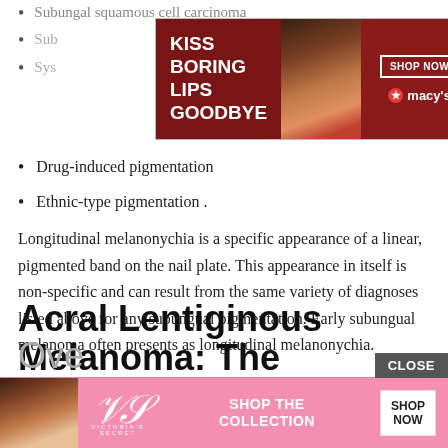Subungal squamous cell carcinoma
[Figure (screenshot): Macy's advertisement banner: 'KISS BORING LIPS GOODBYE' with red lips model photo and SHOP NOW button]
Subungual …
Sys…
Drug-induced pigmentation
Ethnic-type pigmentation .
Longitudinal melanonychia is a specific appearance of a linear, pigmented band on the nail plate. This appearance in itself is non-specific and can result from the same variety of diagnoses listed above for any subungual pigmentation. Early subungual melanoma often presents as longitudinal melanonychia.
You May Like:  Metastatic Skin Cancer Pictures
Acral Lentiginous Melanoma: The
Ove…
[Figure (screenshot): Victoria's Secret advertisement banner: Shop The Collection, Shop Now button, pink background with model]